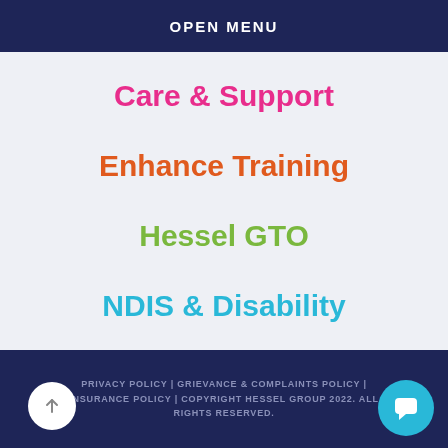OPEN MENU
Care & Support
Enhance Training
Hessel GTO
NDIS & Disability
PRIVACY POLICY | GRIEVANCE & COMPLAINTS POLICY | INSURANCE POLICY | COPYRIGHT HESSEL GROUP 2022. ALL RIGHTS RESERVED.